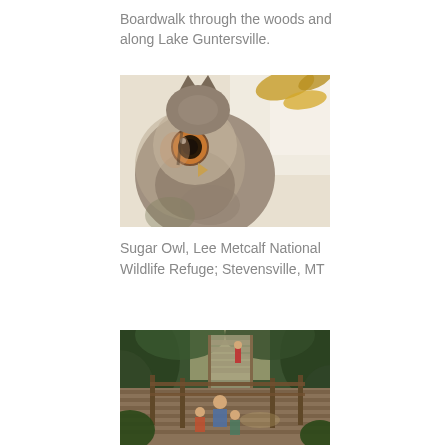Boardwalk through the woods and along Lake Guntersville.
[Figure (photo): Close-up photograph of a Great Horned Owl with ear tufts raised, looking sideways. Brown and gray mottled feathers, yellow and brown eye visible. Some yellow autumn leaves in background.]
Sugar Owl, Lee Metcalf National Wildlife Refuge; Stevensville, MT
[Figure (photo): People on a wooden boardwalk through a lush green forest. Stairs and railing visible. Adults and children walking along the elevated wooden walkway surrounded by dense vegetation.]